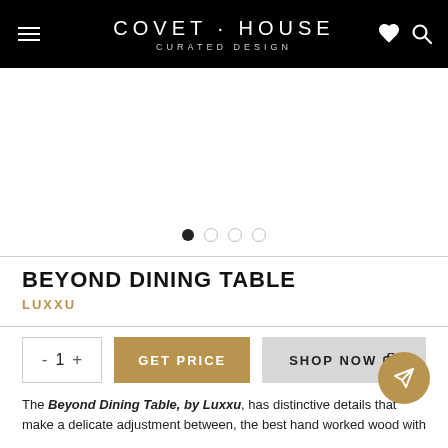COVET · HOUSE CURATED DESIGN
[Figure (photo): Product image area (blank/white) for Beyond Dining Table by Luxxu]
BEYOND DINING TABLE
LUXXU
- 1 +  GET PRICE   SHOP NOW
The Beyond Dining Table, by Luxxu, has distinctive details that make a delicate adjustment between, the best hand worked wood with